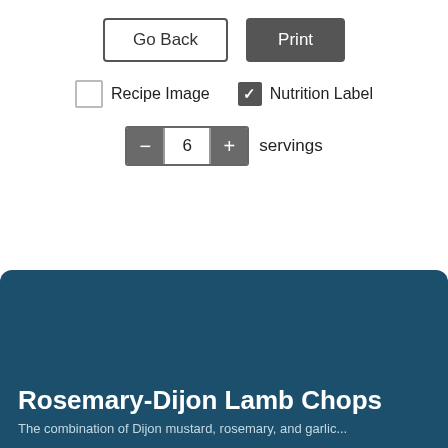[Figure (screenshot): UI control bar with Go Back and Print buttons, Recipe Image unchecked checkbox, Nutrition Label checked checkbox, and a stepper set to 6 servings]
Rosemary-Dijon Lamb Chops
The combination of Dijon mustard, rosemary, and garlic...